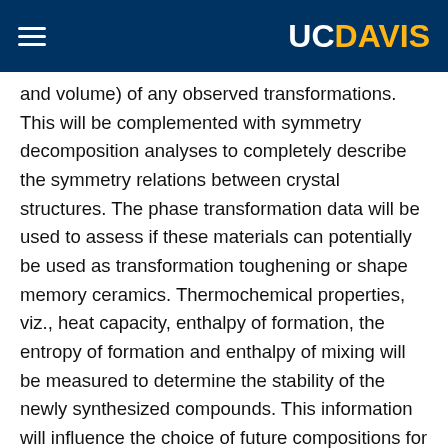UC DAVIS
and volume) of any observed transformations. This will be complemented with symmetry decomposition analyses to completely describe the symmetry relations between crystal structures. The phase transformation data will be used to assess if these materials can potentially be used as transformation toughening or shape memory ceramics. Thermochemical properties, viz., heat capacity, enthalpy of formation, the entropy of formation and enthalpy of mixing will be measured to determine the stability of the newly synthesized compounds. This information will influence the choice of future compositions for potential applications as high temperature, energy storage or structural materials. Finally, with the aid of the CALPHAD method, the complex oxide, carbide and nitride phase diagrams will be